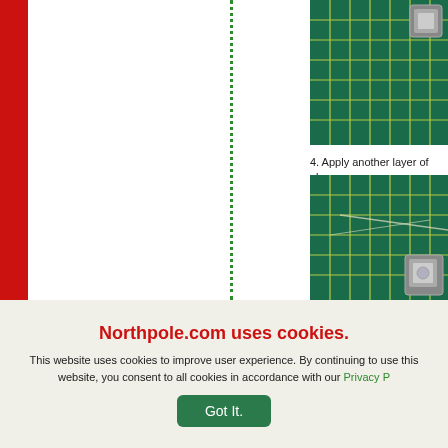[Figure (photo): Top photo: green cutting mat with grid lines and small metallic object in corner]
4. Apply another layer of glue
[Figure (photo): Bottom photo: green cutting mat with grid lines and metallic object]
Northpole.com uses cookies.
This website uses cookies to improve user experience. By continuing to use this website, you consent to all cookies in accordance with our Privacy P...
Got It.